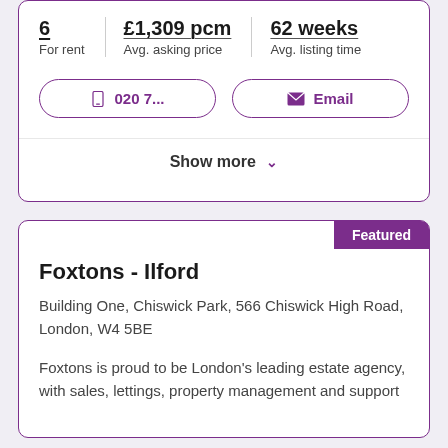6
For rent
£1,309 pcm
Avg. asking price
62 weeks
Avg. listing time
020 7...
Email
Show more
Featured
Foxtons - Ilford
Building One, Chiswick Park, 566 Chiswick High Road, London, W4 5BE
Foxtons is proud to be London's leading estate agency, with sales, lettings, property management and support